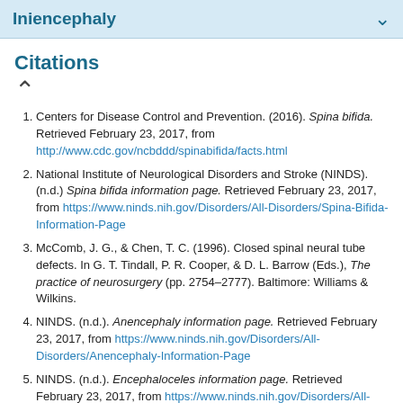Iniencephaly
Citations
Centers for Disease Control and Prevention. (2016). Spina bifida. Retrieved February 23, 2017, from http://www.cdc.gov/ncbddd/spinabifida/facts.html
National Institute of Neurological Disorders and Stroke (NINDS). (n.d.) Spina bifida information page. Retrieved February 23, 2017, from https://www.ninds.nih.gov/Disorders/All-Disorders/Spina-Bifida-Information-Page
McComb, J. G., & Chen, T. C. (1996). Closed spinal neural tube defects. In G. T. Tindall, P. R. Cooper, & D. L. Barrow (Eds.), The practice of neurosurgery (pp. 2754–2777). Baltimore: Williams & Wilkins.
NINDS. (n.d.). Anencephaly information page. Retrieved February 23, 2017, from https://www.ninds.nih.gov/Disorders/All-Disorders/Anencephaly-Information-Page
NINDS. (n.d.). Encephaloceles information page. Retrieved February 23, 2017, from https://www.ninds.nih.gov/Disorders/All-Disorders/Encephaloceles-Information-Page